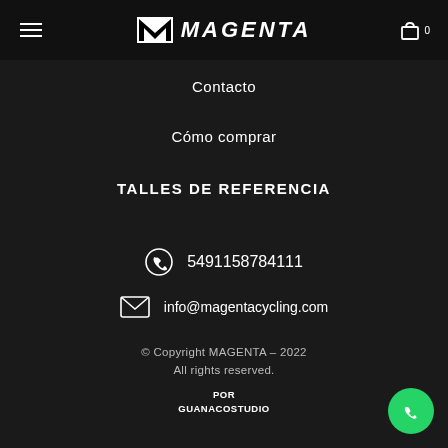MAGENTA - Navigation header with logo, hamburger menu, and cart icon
Contacto
Cómo comprar
TALLES DE REFERENCIA
5491158784111
info@magentacycling.com
© Copyright MAGENTA – 2022
All rights reserved.
POR
GUANACOSTUDIO